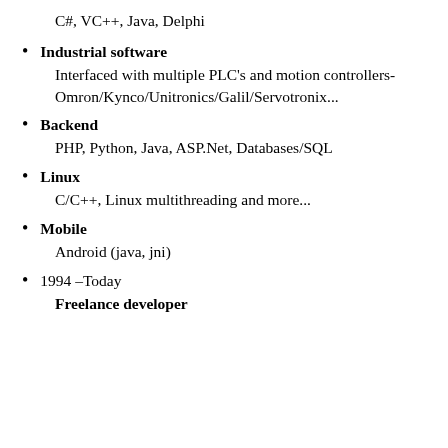C#, VC++, Java, Delphi
Industrial software
Interfaced with multiple PLC's and motion controllers-Omron/Kynco/Unitronics/Galil/Servotronix...
Backend
PHP, Python, Java, ASP.Net, Databases/SQL
Linux
C/C++, Linux multithreading and more...
Mobile
Android (java, jni)
1994 –Today
Freelance developer